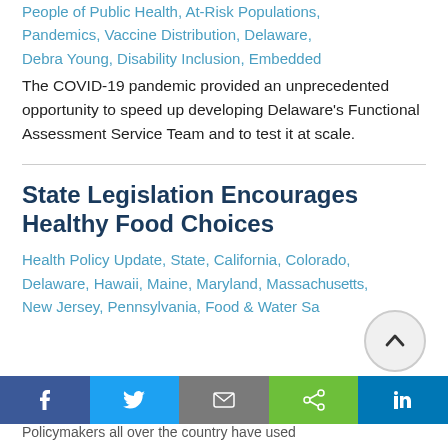People of Public Health, At-Risk Populations, Pandemics, Vaccine Distribution, Delaware, Debra Young, Disability Inclusion, Embedded
The COVID-19 pandemic provided an unprecedented opportunity to speed up developing Delaware's Functional Assessment Service Team and to test it at scale.
State Legislation Encourages Healthy Food Choices
Health Policy Update, State, California, Colorado, Delaware, Hawaii, Maine, Maryland, Massachusetts, New Jersey, Pennsylvania, Food & Water Sa…
Policymakers all over the country have used